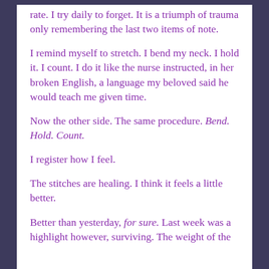rate. I try daily to forget. It is a triumph of trauma only remembering the last two items of note.
I remind myself to stretch. I bend my neck. I hold it. I count. I do it like the nurse instructed, in her broken English, a language my beloved said he would teach me given time.
Now the other side. The same procedure. Bend. Hold. Count.
I register how I feel.
The stitches are healing. I think it feels a little better.
Better than yesterday, for sure. Last week was a highlight however, surviving. The weight of the